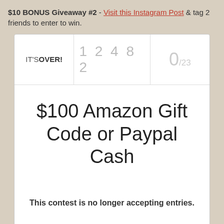$10 BONUS Giveaway #2 - Visit this Instagram Post & tag 2 friends to enter to win.
[Figure (screenshot): Rafflecopter giveaway widget showing a closed contest. Header row shows 'IT'S OVER!' on the left, entry numbers '1 2 4 8 2' in gray in the middle, and '0/23' in gray on the right. Body shows prize '$100 Amazon Gift Code or Paypal Cash' and message 'This contest is no longer accepting entries.' Footer shows 'powered by Rafflecopter'.]